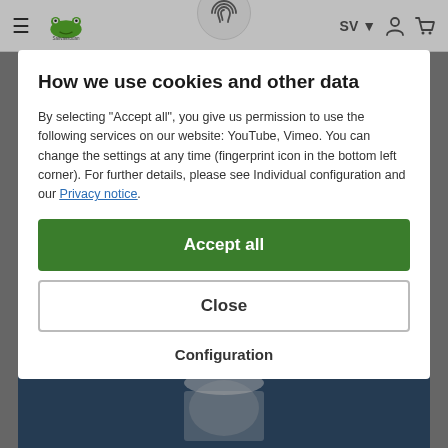Saltvassodan — SV navigation bar with hamburger menu, logo, fingerprint icon, language selector, user icon, cart icon
How we use cookies and other data
By selecting "Accept all", you give us permission to use the following services on our website: YouTube, Vimeo. You can change the settings at any time (fingerprint icon in the bottom left corner). For further details, please see Individual configuration and our Privacy notice.
Accept all
Close
Configuration
[Figure (photo): Partial image of a person in sports/cycling attire visible at the bottom of the page behind the modal overlay]